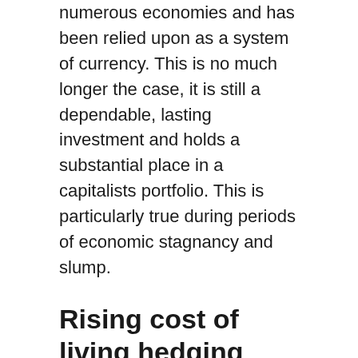numerous economies and has been relied upon as a system of currency. This is no much longer the case, it is still a dependable, lasting investment and holds a substantial place in a capitalists portfolio. This is particularly true during periods of economic stagnancy and slump.
Rising cost of living hedging
Over the last 50 years, gold has actually executed better as a hedge against rising cost of living shocks to the economic climate. Today, lots of capitalists acquire gold as a bush versus political chaos as well as inflation. In straightforward terms, the price of gold tends to climb according to the price of living. This distinct high quality is